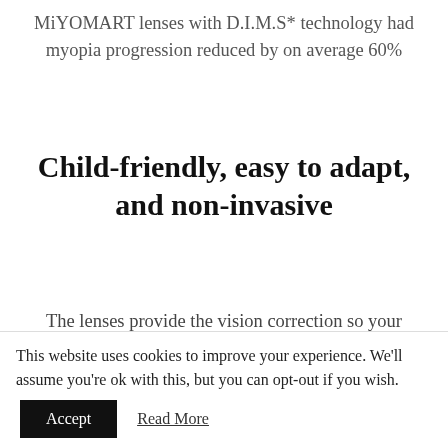MiYOMART lenses with D.I.M.S* technology had myopia progression reduced by on average 60%
Child-friendly, easy to adapt, and non-invasive
The lenses provide the vision correction so your child will experience comfortable vision with both near and distance vision. All this whilst working to reduce the
This website uses cookies to improve your experience. We'll assume you're ok with this, but you can opt-out if you wish.